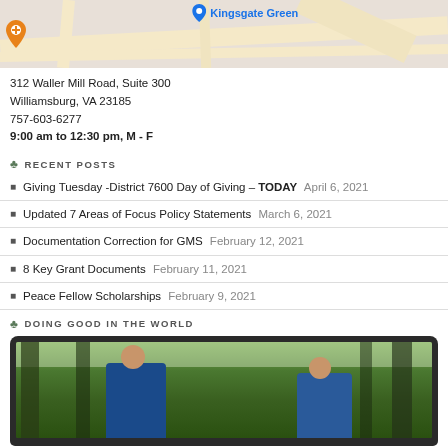[Figure (map): Google Maps view showing Kingsgate Green location with orange and blue pins]
312 Waller Mill Road, Suite 300
Williamsburg, VA 23185
757-603-6277
9:00 am to 12:30 pm, M - F
RECENT POSTS
Giving Tuesday -District 7600 Day of Giving – TODAY April 6, 2021
Updated 7 Areas of Focus Policy Statements March 6, 2021
Documentation Correction for GMS February 12, 2021
8 Key Grant Documents February 11, 2021
Peace Fellow Scholarships February 9, 2021
DOING GOOD IN THE WORLD
[Figure (photo): Photo inside a laptop frame showing people in blue shirts working outdoors in a wooded area, using tools like shovels]